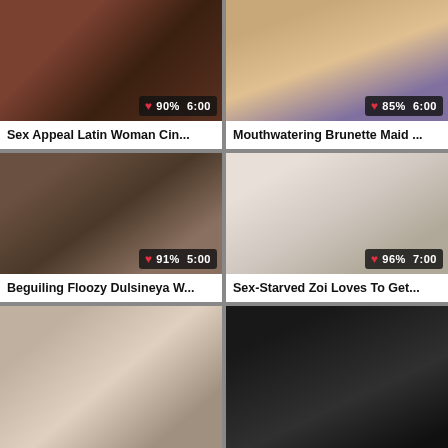[Figure (photo): Video thumbnail 1 - Sex Appeal Latin Woman Cin... with 90% rating and 6:00 duration]
Sex Appeal Latin Woman Cin...
[Figure (photo): Video thumbnail 2 - Mouthwatering Brunette Maid ... with 85% rating and 6:00 duration]
Mouthwatering Brunette Maid ...
[Figure (photo): Video thumbnail 3 - Beguiling Floozy Dulsineya W... with 91% rating and 5:00 duration]
Beguiling Floozy Dulsineya W...
[Figure (photo): Video thumbnail 4 - Sex-Starved Zoi Loves To Get... with 96% rating and 7:00 duration]
Sex-Starved Zoi Loves To Get...
[Figure (photo): Video thumbnail 5 - bottom left, partial view]
[Figure (photo): Video thumbnail 6 - bottom right, partial view, dark scene]